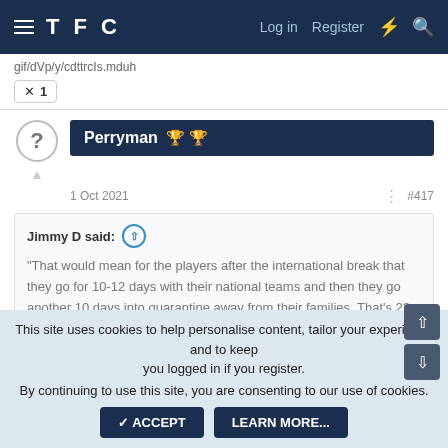TFC  Log in  Register
gif/dVp/y/cdttrcIs.mduh
x 1
Perryman 🏆🏆
1 Oct 2021  #417
Jimmy D said:
"That would mean for the players after the international break that they go for 10-12 days with their national teams and then they go another 10 days into quarantine away from their families. That's 22 days and two weeks later there is the next international break.
This site uses cookies to help personalise content, tailor your experience and to keep you logged in if you register.
By continuing to use this site, you are consenting to our use of cookies.
ACCEPT  LEARN MORE...